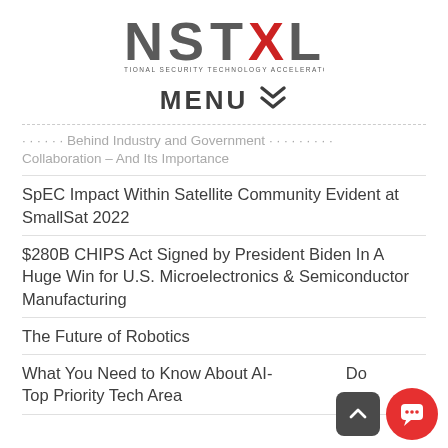[Figure (logo): NSTXL - National Security Technology Accelerator logo. Large bold grey letters NST with red X and grey L, subtitle text below.]
MENU  ≫
· · · · · Behind Industry and Government Collaboration – And Its Importance
SpEC Impact Within Satellite Community Evident at SmallSat 2022
$280B CHIPS Act Signed by President Biden In A Huge Win for U.S. Microelectronics & Semiconductor Manufacturing
The Future of Robotics
What You Need to Know About AI- A Do Top Priority Tech Area